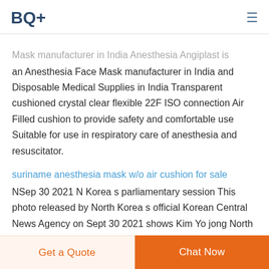BQ+
Mask manufacturer in India Anesthesia Angiplast is an Anesthesia Face Mask manufacturer in India and Disposable Medical Supplies in India Transparent cushioned crystal clear flexible 22F ISO connection Air Filled cushion to provide safety and comfortable use Suitable for use in respiratory care of anesthesia and resuscitator.
suriname anesthesia mask w/o air cushion for sale
NSep 30 2021  N Korea s parliamentary session This photo released by North Korea s official Korean Central News Agency on Sept 30 2021 shows Kim Yo jong North Korean leader Kim Jong un s sister and